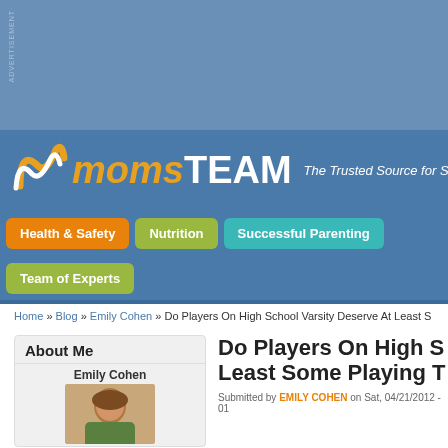[Figure (screenshot): Advertisement banner area with blue-gray background]
momsTEAM — The Trusted Source for Sp...
Health & Safety | Nutrition | Successful Parenting
Team of Experts
Home » Blog » Emily Cohen » Do Players On High School Varsity Deserve At Least S...
About Me
Emily Cohen
[Figure (photo): Photo of Emily Cohen, a woman with brown hair]
Do Players On High School Varsity Deserve At Least Some Playing T...
Submitted by EMILY COHEN on Sat, 04/21/2012 - 01...